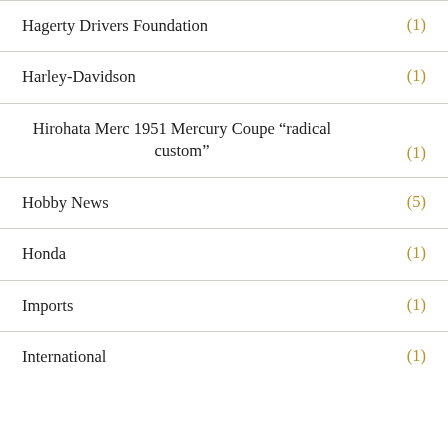Hagerty Drivers Foundation (1)
Harley-Davidson (1)
Hirohata Merc 1951 Mercury Coupe “radical custom” (1)
Hobby News (5)
Honda (1)
Imports (1)
International (1)